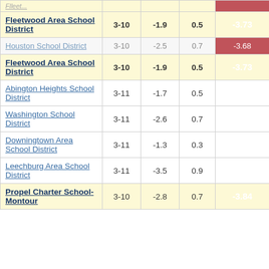| District | Grades | Col3 | Col4 | Score |
| --- | --- | --- | --- | --- |
| Fleetwood Area School District | 3-10 | -1.9 | 0.5 | -3.73 |
| Houston School District | 3-10 | -2.5 | 0.7 | -3.68 |
| Fleetwood Area School District | 3-10 | -1.9 | 0.5 | -3.73 |
| Abington Heights School District | 3-11 | -1.7 | 0.5 | -3.75 |
| Washington School District | 3-11 | -2.6 | 0.7 | -3.78 |
| Downingtown Area School District | 3-11 | -1.3 | 0.3 | -3.81 |
| Leechburg Area School District | 3-11 | -3.5 | 0.9 | -3.84 |
| Propel Charter School-Montour | 3-10 | -2.8 | 0.7 | -3.84 |